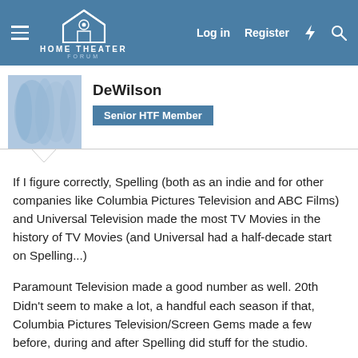HOME THEATER FORUM — Log in | Register
[Figure (logo): Home Theater Forum logo with house/speaker icon]
DeWilson
Senior HTF Member
If I figure correctly, Spelling (both as an indie and for other companies like Columbia Pictures Television and ABC Films) and Universal Television made the most TV Movies in the history of TV Movies (and Universal had a half-decade start on Spelling...)
Paramount Television made a good number as well. 20th Didn't seem to make a lot, a handful each season if that, Columbia Pictures Television/Screen Gems made a few before, during and after Spelling did stuff for the studio.
Metromedia made a few, Warners made a good number. ABC did a lot in house (Some of the "Wide World of Entertainment" late night quickie shot on Video Tape...